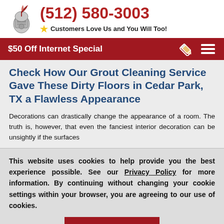(512) 580-3003 — Customers Love Us and You Will Too!
$50 Off Internet Special
Check How Our Grout Cleaning Service Gave These Dirty Floors in Cedar Park, TX a Flawless Appearance
Decorations can drastically change the appearance of a room. The truth is, however, that even the fanciest interior decoration can be unsightly if the surfaces…
This website uses cookies to help provide you the best experience possible. See our Privacy Policy for more information. By continuing without changing your cookie settings within your browser, you are agreeing to our use of cookies.
ACCEPT